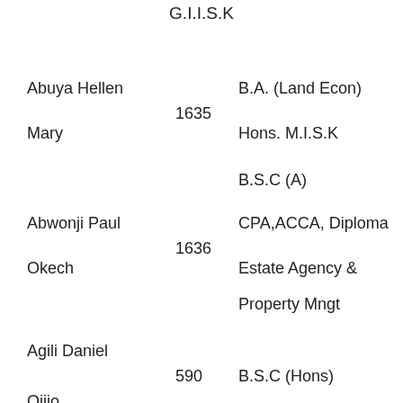G.I.I.S.K
| Name | No. | Qualifications |
| --- | --- | --- |
| Abuya Hellen Mary | 1635 | B.A. (Land Econ) Hons. M.I.S.K |
|  |  | B.S.C (A) |
| Abwonji Paul Okech | 1636 | CPA,ACCA, Diploma Estate Agency & Property Mngt |
| Agili Daniel Ojijo | 590 | B.S.C (Hons) |